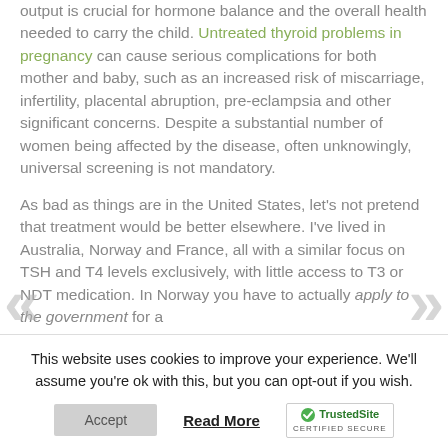output is crucial for hormone balance and the overall health needed to carry the child. Untreated thyroid problems in pregnancy can cause serious complications for both mother and baby, such as an increased risk of miscarriage, infertility, placental abruption, pre-eclampsia and other significant concerns. Despite a substantial number of women being affected by the disease, often unknowingly, universal screening is not mandatory.
As bad as things are in the United States, let's not pretend that treatment would be better elsewhere. I've lived in Australia, Norway and France, all with a similar focus on TSH and T4 levels exclusively, with little access to T3 or NDT medication. In Norway you have to actually apply to the government for a
This website uses cookies to improve your experience. We'll assume you're ok with this, but you can opt-out if you wish.